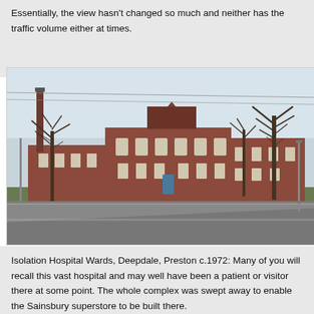Essentially, the view hasn't changed so much and neither has the traffic volume either at times.
[Figure (photo): Photograph of Isolation Hospital Wards, Deepdale, Preston, circa 1972. Shows a red-brick Victorian hospital building with multiple wings, bare trees in winter, a tall chimney on the left, and a road in the foreground.]
Isolation Hospital Wards, Deepdale, Preston c.1972: Many of you will recall this vast hospital and may well have been a patient or visitor there at some point. The whole complex was swept away to enable the Sainsbury superstore to be built there.